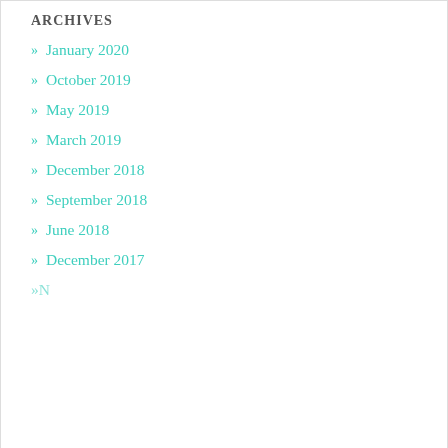ARCHIVES
» January 2020
» October 2019
» May 2019
» March 2019
» December 2018
» September 2018
» June 2018
» December 2017
Privacy & Cookies: This site uses cookies. By continuing to use this website, you agree to their use.
To find out more, including how to control cookies, see here: Cookie Policy
Close and accept